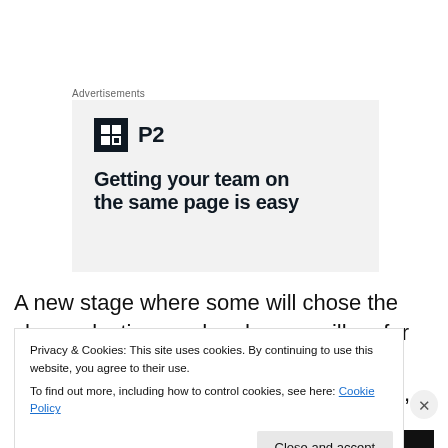Advertisements
[Figure (screenshot): Advertisement banner with P2 logo and headline text 'Getting your team on the same page is easy']
A new stage where some will chose the cheap plastic sword and some will go for the Weta Workshop originals (or is that near originals?) It is up to you to choose, but we
Privacy & Cookies: This site uses cookies. By continuing to use this website, you agree to their use.
To find out more, including how to control cookies, see here: Cookie Policy
Close and accept